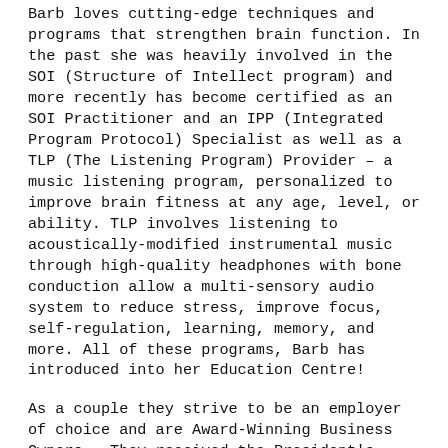Barb loves cutting-edge techniques and programs that strengthen brain function. In the past she was heavily involved in the SOI (Structure of Intellect program) and more recently has become certified as an SOI Practitioner and an IPP (Integrated Program Protocol) Specialist as well as a TLP (The Listening Program) Provider – a music listening program, personalized to improve brain fitness at any age, level, or ability. TLP involves listening to acoustically-modified instrumental music through high-quality headphones with bone conduction allow a multi-sensory audio system to reduce stress, improve focus, self-regulation, learning, memory, and more. All of these programs, Barb has introduced into her Education Centre!
As a couple they strive to be an employer of choice and are Award-Winning Business Owners – They received the President's Award of Excellence (local Chamber of Commerce) in October of 2012.